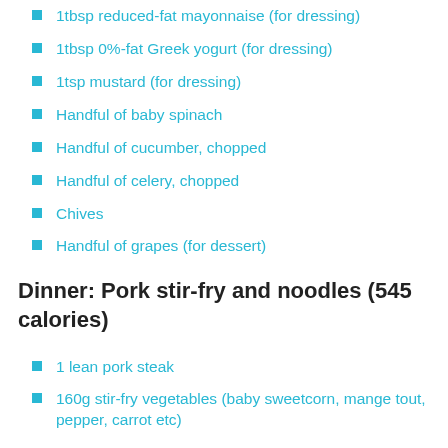1tbsp reduced-fat mayonnaise (for dressing)
1tbsp 0%-fat Greek yogurt (for dressing)
1tsp mustard (for dressing)
Handful of baby spinach
Handful of cucumber, chopped
Handful of celery, chopped
Chives
Handful of grapes (for dessert)
Dinner: Pork stir-fry and noodles (545 calories)
1 lean pork steak
160g stir-fry vegetables (baby sweetcorn, mange tout, pepper, carrot etc)